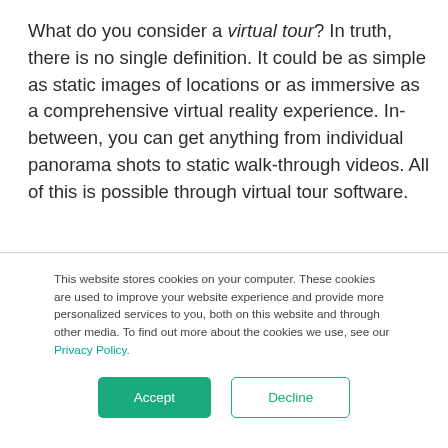What do you consider a virtual tour? In truth, there is no single definition. It could be as simple as static images of locations or as immersive as a comprehensive virtual reality experience. In-between, you can get anything from individual panorama shots to static walk-through videos. All of this is possible through virtual tour software.
This website stores cookies on your computer. These cookies are used to improve your website experience and provide more personalized services to you, both on this website and through other media. To find out more about the cookies we use, see our Privacy Policy.